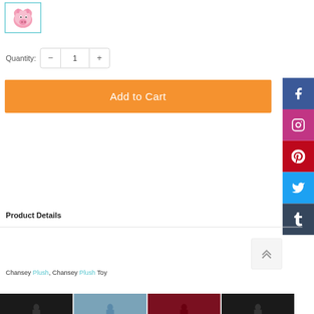[Figure (photo): Pink pig plush toy thumbnail image with teal border]
Quantity: - 1 +
Add to Cart
[Figure (infographic): Social media sidebar icons: Facebook, Instagram, Pinterest, Twitter, Tumblr]
Product Details
Chansey Plush, Chansey Plush Toy
[Figure (photo): Row of clothing product thumbnails at the bottom of the page]